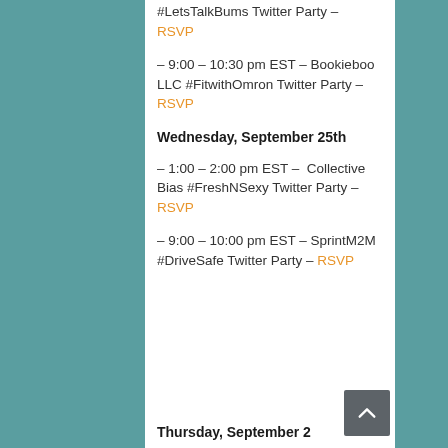#LetsTalkBums Twitter Party – RSVP
– 9:00 – 10:30 pm EST – Bookieboo LLC #FitwithOmron Twitter Party – RSVP
Wednesday, September 25th
– 1:00 – 2:00 pm EST – Collective Bias #FreshNSexy Twitter Party – RSVP
– 9:00 – 10:00 pm EST – SprintM2M #DriveSafe Twitter Party – RSVP
Thursday, September 2...